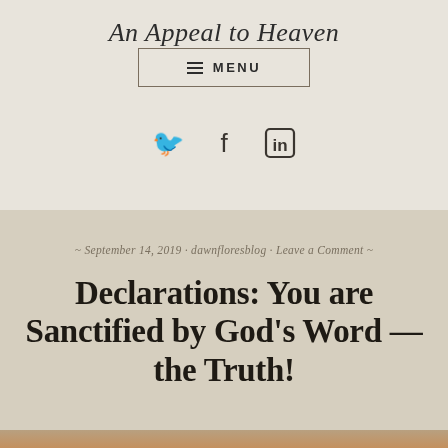An Appeal to Heaven
[Figure (screenshot): Menu button with hamburger icon and MENU text, inside a rectangular border]
[Figure (screenshot): Social media icons: Twitter bird, Facebook f, LinkedIn in]
~ September 14, 2019 · dawnfloresblog · Leave a Comment ~
Declarations: You are Sanctified by God's Word — the Truth!